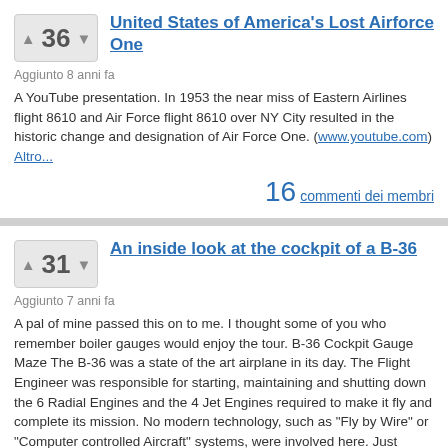United States of America's Lost Airforce One
Aggiunto 8 anni fa
A YouTube presentation. In 1953 the near miss of Eastern Airlines flight 8610 and Air Force flight 8610 over NY City resulted in the historic change and designation of Air Force One. (www.youtube.com) Altro...
16 commenti dei membri
An inside look at the cockpit of a B-36
Aggiunto 7 anni fa
A pal of mine passed this on to me. I thought some of you who remember boiler gauges would enjoy the tour. B-36 Cockpit Gauge Maze The B-36 was a state of the art airplane in its day. The Flight Engineer was responsible for starting, maintaining and shutting down the 6 Radial Engines and the 4 Jet Engines required to make it fly and complete its mission. No modern technology, such as "Fly by Wire" or "Computer controlled Aircraft" systems, were involved here. Just straight... (www.nmusafvirtualtour.com) Altro...